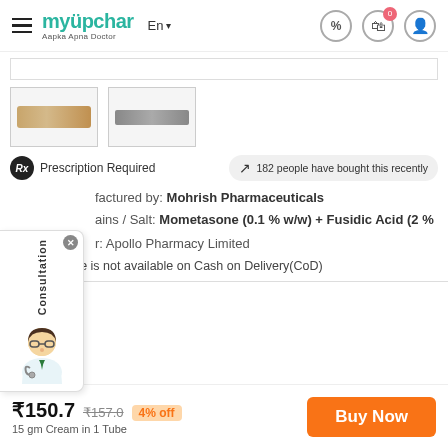myupchar — Aapka Apna Doctor
[Figure (photo): Two thumbnail images of a cream tube product (front and back views)]
Prescription Required
182 people have bought this recently
Manufactured by: Mohrish Pharmaceuticals
Contains / Salt: Mometasone (0.1 % w/w) + Fusidic Acid (2 %
Seller: Apollo Pharmacy Limited
This medicine is not available on Cash on Delivery(CoD)
₹150.7  ₹157.0  4% off
15 gm Cream in 1 Tube